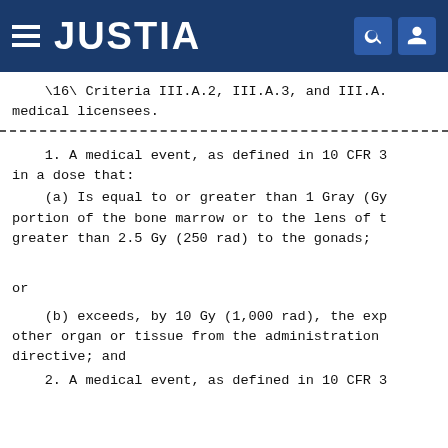JUSTIA
\16\ Criteria III.A.2, III.A.3, and III.A.
medical licensees.
1. A medical event, as defined in 10 CFR 3
in a dose that:
(a) Is equal to or greater than 1 Gray (Gy
portion of the bone marrow or to the lens of t
greater than 2.5 Gy (250 rad) to the gonads;
or
(b) exceeds, by 10 Gy (1,000 rad), the exp
other organ or tissue from the administration
directive; and
2. A medical event, as defined in 10 CFR 3